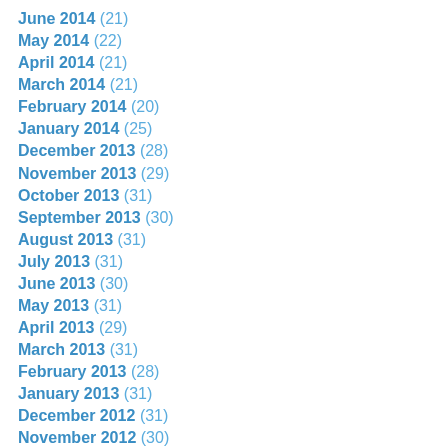June 2014 (21)
May 2014 (22)
April 2014 (21)
March 2014 (21)
February 2014 (20)
January 2014 (25)
December 2013 (28)
November 2013 (29)
October 2013 (31)
September 2013 (30)
August 2013 (31)
July 2013 (31)
June 2013 (30)
May 2013 (31)
April 2013 (29)
March 2013 (31)
February 2013 (28)
January 2013 (31)
December 2012 (31)
November 2012 (30)